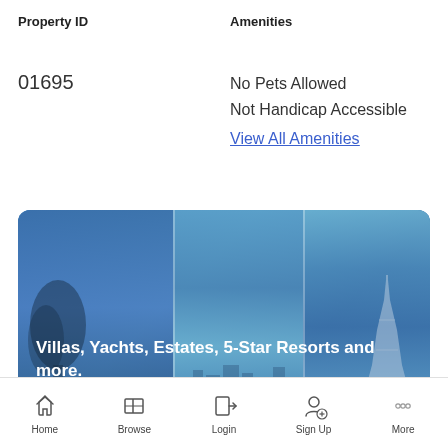Property ID
Amenities
01695
No Pets Allowed
Not Handicap Accessible
View All Amenities
[Figure (photo): Three-panel banner image with blue-tinted photos showing a scenic landscape on the left, a cityscape in the middle, and the Eiffel Tower on the right. Text overlay reads: Villas, Yachts, Estates, 5-Star Resorts and more.]
Home  Browse  Login  Sign Up  More